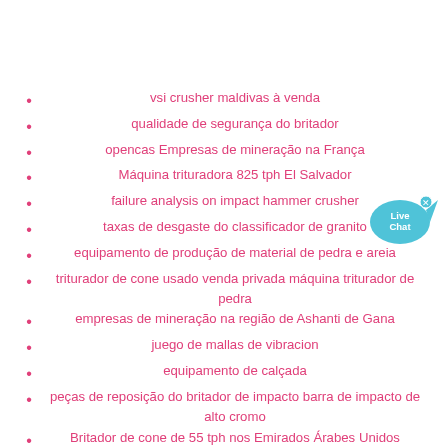vsi crusher maldivas à venda
qualidade de segurança do britador
opencas Empresas de mineração na França
Máquina trituradora 825 tph El Salvador
failure analysis on impact hammer crusher
taxas de desgaste do classificador de granito
equipamento de produção de material de pedra e areia
triturador de cone usado venda privada máquina triturador de pedra
empresas de mineração na região de Ashanti de Gana
juego de mallas de vibracion
equipamento de calçada
peças de reposição do britador de impacto barra de impacto de alto cromo
Britador de cone de 55 tph nos Emirados Árabes Unidos
tipos de máquina de calcário
direitos de mineração da china para investimentos estrangeiros
triturador de pedra à venda pta norte